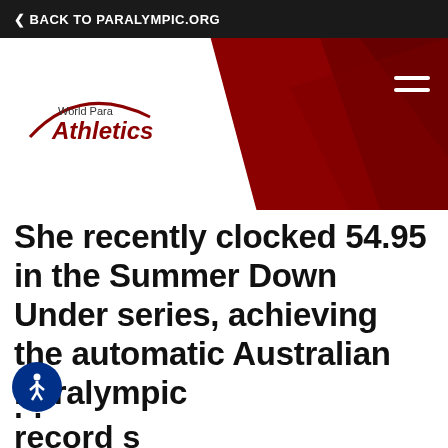< BACK TO PARALYMPIC.ORG
[Figure (logo): World Para Athletics logo on white triangular background against dark red header]
She recently clocked 54.95 in the Summer Down Under series, achieving the automatic Australian Paralympic standard for Rio...
This website uses cookies
We use cookies to personalise content and ads, to provide social media features and to analyse our traffic. We also share information about your use of our site with our social media, advertising and analytics partners who may combine it with other information that you've provided to them or that they've collected from your use of their services.
Allow all cookies
Allow selection
Use necessary cookies o...
Necessary  Preferences  Statistics  Marketing  Show details
...ppens to be the world record s... in Arbon, Switzerland last June, ju...